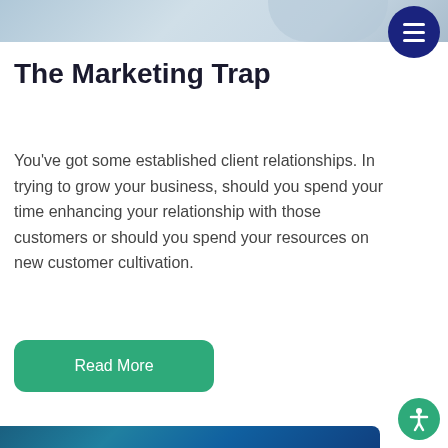[Figure (photo): Top banner image with blue/grey tones, partially visible]
The Marketing Trap
You've got some established client relationships. In trying to grow your business, should you spend your time enhancing your relationship with those customers or should you spend your resources on new customer cultivation.
[Figure (other): Green 'Read More' button]
[Figure (other): Bottom partial image with blue digital tones]